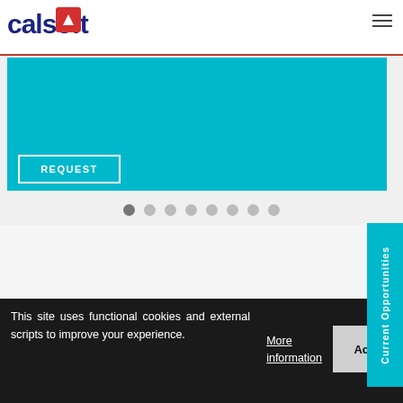calsoft
[Figure (screenshot): Teal/cyan colored banner area with a REQUEST button outlined in white]
[Figure (infographic): Row of 8 circular dot indicators for a slideshow carousel, first dot is darker (active)]
[Figure (screenshot): Current Opportunities vertical tab on the right side in teal color]
This site uses functional cookies and external scripts to improve your experience.
More information
Acce